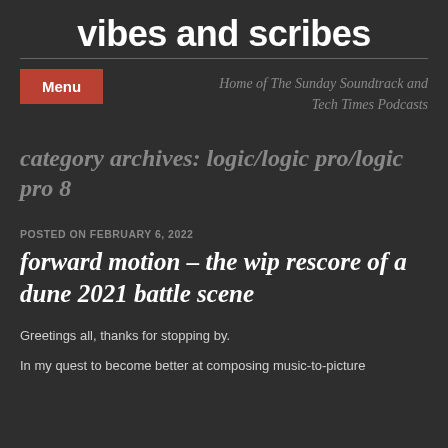vibes and scribes
Home of The Sunday Soundtrack and Tech Times Podcasts
category archives: logic/logic pro/logic pro 8
POSTED ON FEBRUARY 6, 2022
forward motion – the wip rescore of a dune 2021 battle scene
Greetings all, thanks for stopping by.
In my quest to become better at composing music-to-picture